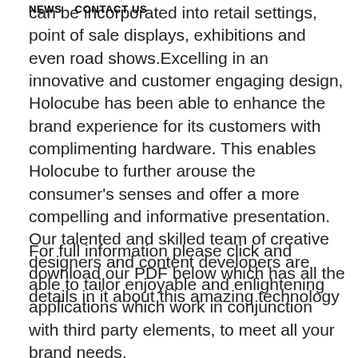NEWS   CONTACT US
can be incorporated into retail settings, point of sale displays, exhibitions and even road shows.Excelling in an innovative and customer engaging design, Holocube has been able to enhance the brand experience for its customers with complimenting hardware. This enables Holocube to further arouse the consumer's senses and offer a more compelling and informative presentation. Our talented and skilled team of creative designers and content developers are able to tailor enjoyable and enlightening applications which work in conjunction with third party elements, to meet all your brand needs.
For full information please click and download our PDF below which has all the details in it about this amazing technology